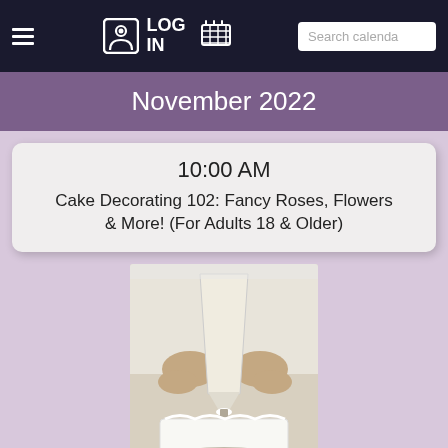LOG IN  Search calenda
November 2022
10:00 AM
Cake Decorating 102: Fancy Roses, Flowers & More! (For Adults 18 & Older)
[Figure (photo): Person decorating a white cake with a piping bag, white background]
20 Seats remaining
Monday  7